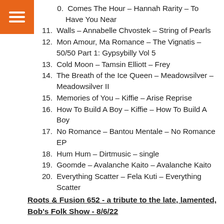10. Comes The Hour – Hannah Rarity – To Have You Near
11. Walls – Annabelle Chvostek – String of Pearls
12. Mon Amour, Ma Romance – The Vignatis – 50/50 Part 1: Gypsybilly Vol 5
13. Cold Moon – Tamsin Elliott – Frey
14. The Breath of the Ice Queen – Meadowsilver – Meadowsilver II
15. Memories of You – Kiffie – Arise Reprise
16. How To Build A Boy – Kiffie – How To Build A Boy
17. No Romance – Bantou Mentale – No Romance EP
18. Hum Hum – Dirtmusic – single
19. Goomde – Avalanche Kaito – Avalanche Kaito
20. Everything Scatter – Fela Kuti – Everything Scatter
Roots & Fusion 652 - a tribute to the late, lamented, Bob's Folk Show - 8/6/22